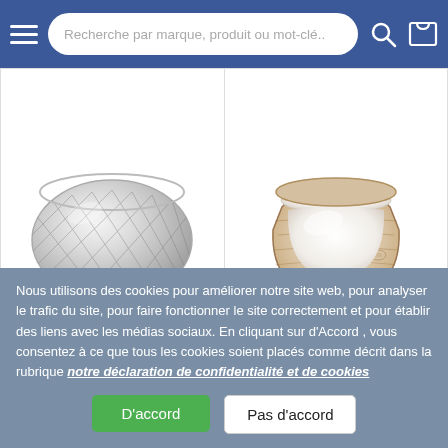Recherche par marque, produit ou mot-clé..
[Figure (photo): J-Line glass decorative bowl with diamond pattern texture, transparent, round shape]
www.lasuy.fr
J-Line Plat Rond Decoratif Verre Taille Transparent et d'autres...
[Figure (photo): J-Line mango wood bowl with white interior ceramic finish, natural wood exterior]
www.lasuy.fr
J-Line Bol Manguier Blanc White et d'autres...
Nous utilisons des cookies pour améliorer notre site web, pour analyser le trafic du site, pour faire fonctionner le site correctement et pour établir des liens avec les médias sociaux. En cliquant sur d'Accord , vous consentez à ce que tous les cookies soient placés comme décrit dans la rubrique notre déclaration de confidentialité et de cookies
D'accord
Pas d'accord